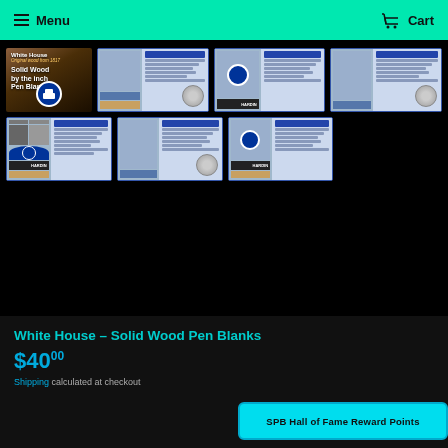Menu | Cart
[Figure (photo): Product gallery showing White House Solid Wood Pen Blanks certification cards — 7 thumbnail images on black background. Top row: main product image (White House Original wood from 1817, Solid Wood by the inch Pen Blanks), and three certification card thumbnails. Bottom row: three more certification card thumbnails showing White House imagery and Hardin branding.]
White House – Solid Wood Pen Blanks
$40.00
Shipping calculated at checkout
SPB Hall of Fame Reward Points